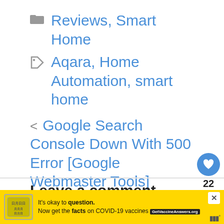📁 Reviews, Smart Home
🏷 Aqara, Home Automation, smart home
‹  Google Search Console Down With 500 Error [Google Webmaster Tools]
>  Top Platforms That Support Dogecoin
Leave a comment
[Figure (other): COVID-19 vaccine advertisement banner with yellow background: 'It's okay to question. Now get the facts on COVID-19 vaccines GetVaccineAnswers.org']